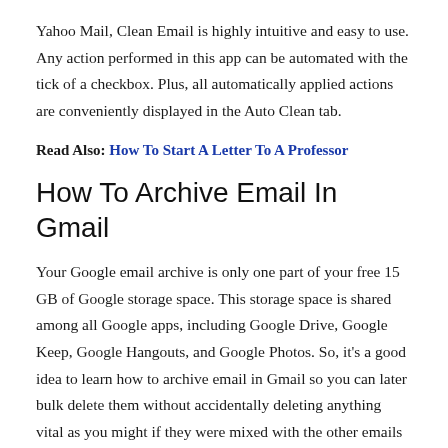Yahoo Mail, Clean Email is highly intuitive and easy to use. Any action performed in this app can be automated with the tick of a checkbox. Plus, all automatically applied actions are conveniently displayed in the Auto Clean tab.
Read Also: How To Start A Letter To A Professor
How To Archive Email In Gmail
Your Google email archive is only one part of your free 15 GB of Google storage space. This storage space is shared among all Google apps, including Google Drive, Google Keep, Google Hangouts, and Google Photos. So, it's a good idea to learn how to archive email in Gmail so you can later bulk delete them without accidentally deleting anything vital as you might if they were mixed with the other emails in your inbox.